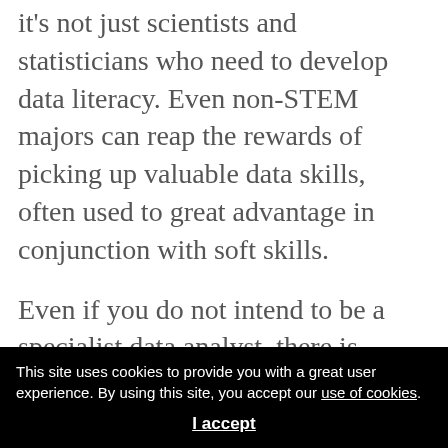it's not just scientists and statisticians who need to develop data literacy. Even non-STEM majors can reap the rewards of picking up valuable data skills, often used to great advantage in conjunction with soft skills.
Even if you do not intend to be a specialist data analyst, there is always a need for people who are well versed enough to translate between data analysts and the rest of the business groups – for example
This site uses cookies to provide you with a great user experience. By using this site, you accept our use of cookies.
I accept